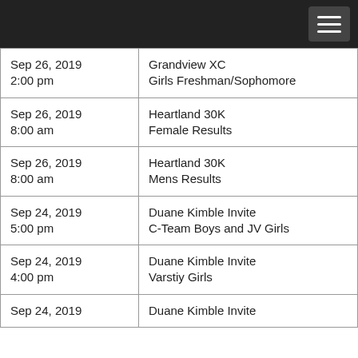| Date/Time | Event |
| --- | --- |
| Sep 26, 2019
2:00 pm | Grandview XC
Girls Freshman/Sophomore |
| Sep 26, 2019
8:00 am | Heartland 30K
Female Results |
| Sep 26, 2019
8:00 am | Heartland 30K
Mens Results |
| Sep 24, 2019
5:00 pm | Duane Kimble Invite
C-Team Boys and JV Girls |
| Sep 24, 2019
4:00 pm | Duane Kimble Invite
Varstiy Girls |
| Sep 24, 2019 | Duane Kimble Invite |